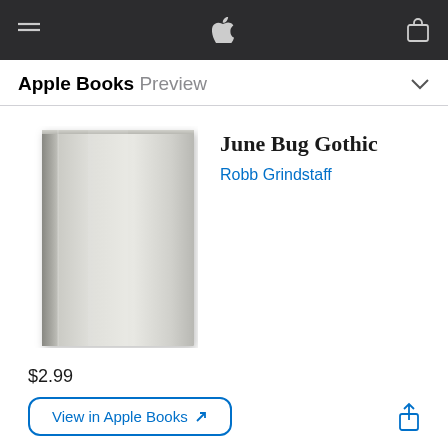Apple Books Preview
June Bug Gothic
Robb Grindstaff
[Figure (illustration): Book cover placeholder — a gray gradient hardcover book with no text or artwork, viewed from the front, with subtle shadow on the spine.]
$2.99
View in Apple Books ↗